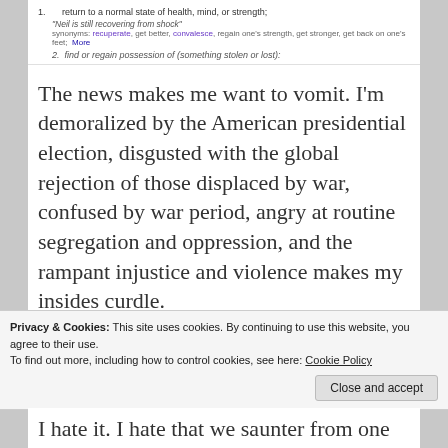1. return to a normal state of health, mind, or strength; "Neil is still recovering from shock" synonyms: recuperate, get better, convalesce, regain one's strength, get stronger, get back on one's feet; More
2. find or regain possession of (something stolen or lost):
The news makes me want to vomit. I'm demoralized by the American presidential election, disgusted with the global rejection of those displaced by war, confused by war period, angry at routine segregation and oppression, and the rampant injustice and violence makes my insides curdle.
But if recovery is getting back to normal and normal is slaughtering, ravaging, ridiculing and degrading our neighbors, then I don't want it. I don't want to go back to a normal where fear begets discrimination and pride births peonage.
Privacy & Cookies: This site uses cookies. By continuing to use this website, you agree to their use.
To find out more, including how to control cookies, see here: Cookie Policy
Close and accept
I hate it. I hate that we saunter from one sickening